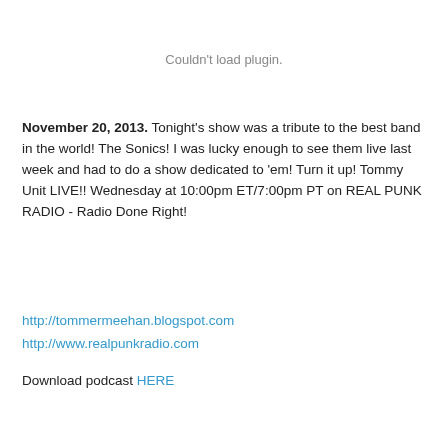[Figure (other): Couldn't load plugin. placeholder area]
November 20, 2013. Tonight's show was a tribute to the best band in the world! The Sonics! I was lucky enough to see them live last week and had to do a show dedicated to 'em! Turn it up! Tommy Unit LIVE!! Wednesday at 10:00pm ET/7:00pm PT on REAL PUNK RADIO - Radio Done Right!
http://tommermeehan.blogspot.com
http://www.realpunkradio.com
Download podcast HERE